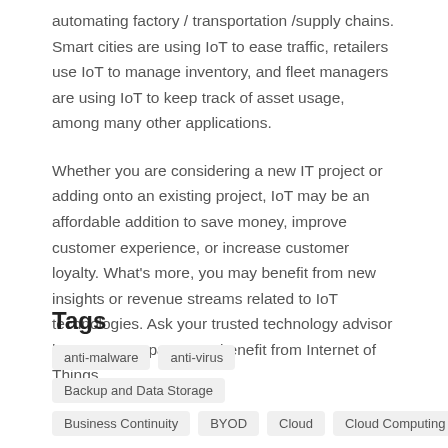automating factory / transportation /supply chains. Smart cities are using IoT to ease traffic, retailers use IoT to manage inventory, and fleet managers are using IoT to keep track of asset usage, among many other applications.
Whether you are considering a new IT project or adding onto an existing project, IoT may be an affordable addition to save money, improve customer experience, or increase customer loyalty. What's more, you may benefit from new insights or revenue streams related to IoT technologies. Ask your trusted technology advisor how your company may benefit from Internet of Things.
Tags
anti-malware
anti-virus
Backup and Data Storage
Business Continuity
BYOD
Cloud
Cloud Computing